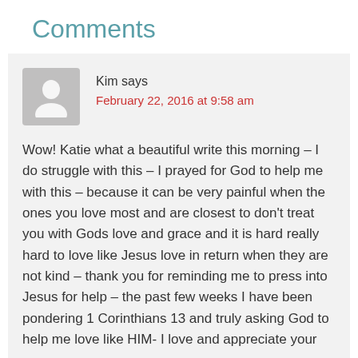Comments
Kim says
February 22, 2016 at 9:58 am
Wow! Katie what a beautiful write this morning – I do struggle with this – I prayed for God to help me with this – because it can be very painful when the ones you love most and are closest to don't treat you with Gods love and grace and it is hard really hard to love like Jesus love in return when they are not kind – thank you for reminding me to press into Jesus for help – the past few weeks I have been pondering 1 Corinthians 13 and truly asking God to help me love like HIM- I love and appreciate your